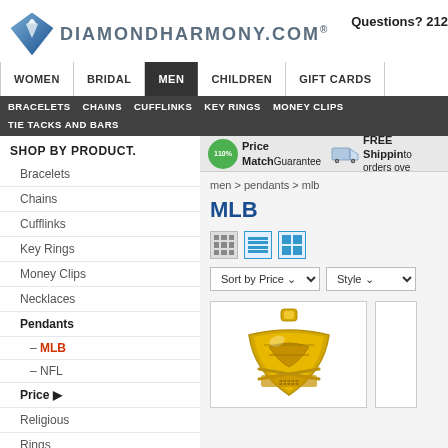DiamondHarmony.com | Questions? 212
WOMEN | BRIDAL | MEN | CHILDREN | GIFT CARDS
BRACELETS | CHAINS | CUFFLINKS | KEY RINGS | MONEY CLIPS | TIE TACKS AND BARS
SHOP BY PRODUCT.
Bracelets
Chains
Cufflinks
Key Rings
Money Clips
Necklaces
Pendants
– MLB
– NFL
Price ▶
Religious
Rings
Tie Tacks and Bars
SHOP BY COLLECTION
Medical ID Bracelets
Price Match Guarantee
FREE Shipping to orders over
men > pendants > mlb
MLB
[Figure (screenshot): View toggle icons: grid, list, large-grid]
Sort by Price | Style
[Figure (photo): Gold MLB baseball pendant showing crossed bats and shield design]